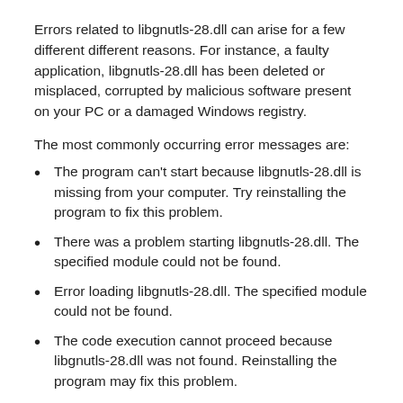Errors related to libgnutls-28.dll can arise for a few different different reasons. For instance, a faulty application, libgnutls-28.dll has been deleted or misplaced, corrupted by malicious software present on your PC or a damaged Windows registry.
The most commonly occurring error messages are:
The program can't start because libgnutls-28.dll is missing from your computer. Try reinstalling the program to fix this problem.
There was a problem starting libgnutls-28.dll. The specified module could not be found.
Error loading libgnutls-28.dll. The specified module could not be found.
The code execution cannot proceed because libgnutls-28.dll was not found. Reinstalling the program may fix this problem.
libgnutls-28.dll is either not designed to run on Windows or it contains an error. Try installing the program again using the original installation media or contact your system administrator or the software